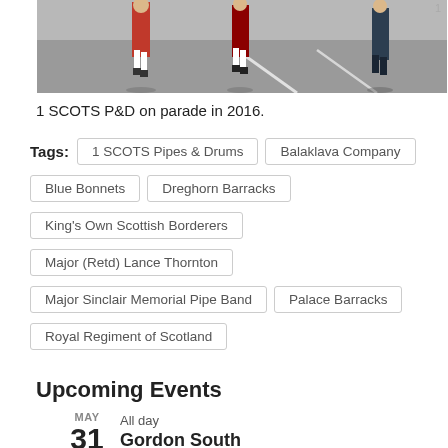[Figure (photo): Photo of 1 SCOTS P&D on parade in 2016 — partial view showing marching figures in uniform on a road]
1 SCOTS P&D on parade in 2016.
Tags: 1 SCOTS Pipes & Drums | Balaklava Company | Blue Bonnets | Dreghorn Barracks | King's Own Scottish Borderers | Major (Retd) Lance Thornton | Major Sinclair Memorial Pipe Band | Palace Barracks | Royal Regiment of Scotland
Upcoming Events
MAY  All day
31  [Gordon South Highland Command Sub-Division...]